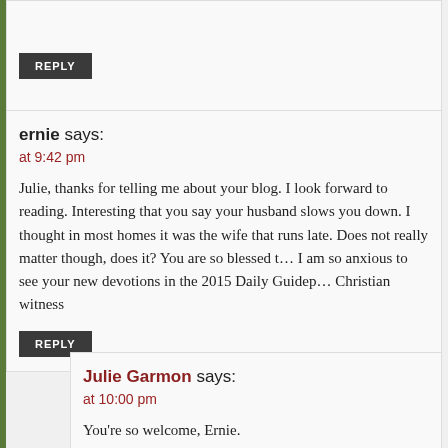REPLY
ernie says:
at 9:42 pm
Julie, thanks for telling me about your blog. I look forward to reading. Interesting that you say your husband slows you down. I thought in most homes it was the wife that runs late. Does not really matter though, does it? You are so blessed to have each other. I am so anxious to see your new devotions in the 2015 Daily Guideposts. Keep up your Christian witness
REPLY
Julie Garmon says:
at 10:00 pm
You're so welcome, Ernie.
Yep. I'm always the early, ahead of schedule, nerd. Everywhere I